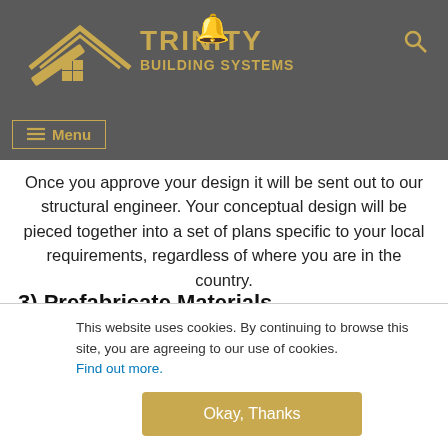[Figure (logo): Trinity Building Systems logo with golden roof/hammer icon and text on grey background]
Menu
Once you approve your design it will be sent out to our structural engineer. Your conceptual design will be pieced together into a set of plans specific to your local requirements, regardless of where you are in the country.
3) Prefabricate Materials
[Figure (illustration): Icon of a prefabricated building/shipping container structure]
This website uses cookies. By continuing to browse this site, you are agreeing to our use of cookies. Find out more.
Okay, Thanks